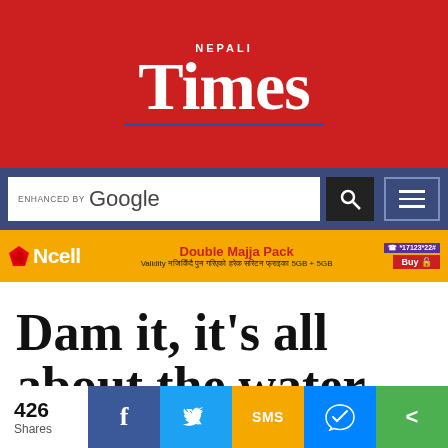[Figure (logo): Nepali Times logo — white text on red background with blue underline]
[Figure (screenshot): Google search bar with dark search button and hamburger menu button, on dark blue background]
[Figure (infographic): Ncell advertisement banner: Double Majja Pack, Validity नजिकिँदै पुन गरिएको हरेक सरिटन फ्राइका 5GB + 5GB]
Dam it, it's all about the water
[Figure (infographic): Social share bar: 426 Shares, Facebook, Twitter, SMS, Messenger, More]